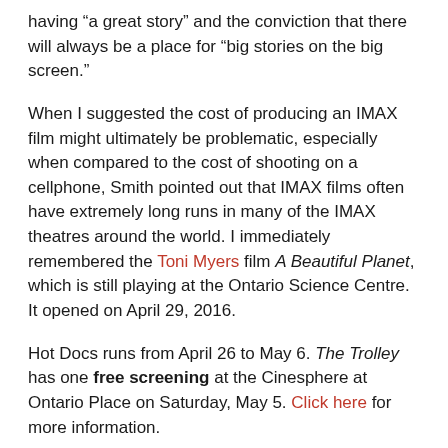having “a great story” and the conviction that there will always be a place for “big stories on the big screen.”
When I suggested the cost of producing an IMAX film might ultimately be problematic, especially when compared to the cost of shooting on a cellphone, Smith pointed out that IMAX films often have extremely long runs in many of the IMAX theatres around the world. I immediately remembered the Toni Myers film A Beautiful Planet, which is still playing at the Ontario Science Centre. It opened on April 29, 2016.
Hot Docs runs from April 26 to May 6. The Trolley has one free screening at the Cinesphere at Ontario Place on Saturday, May 5. Click here for more information.
Also see: IMAX at 50.